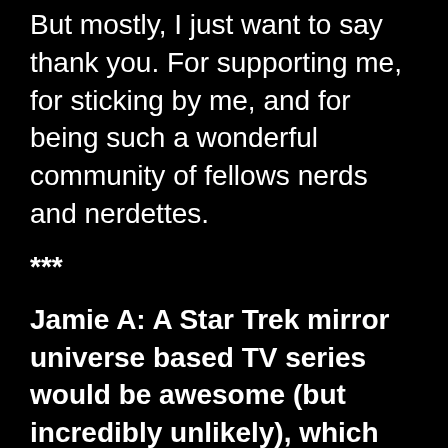But mostly, I just want to say thank you.  For supporting me, for sticking by me, and for being such a wonderful community of fellows nerds and nerdettes.
***
Jamie A: A Star Trek mirror universe based TV series would be awesome (but incredibly unlikely), which time period in the franchise would be best to see in the mirror universe and why?
I'd actually love to see a TV show based on Sela.  About a week ago I participated in a